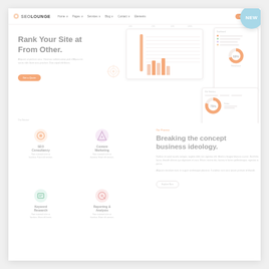[Figure (screenshot): SEOLounge website screenshot showing navigation bar with logo, hero section with 'Rank Your Site at From Other.' headline, dashboard UI mockups on the right, services section with SEO Consultancy, Content Marketing, Keyword Research, Reporting & Analysis icons, and a 'Breaking the concept business ideology.' content block on the right side. A 'NEW' badge appears in the top-right corner.]